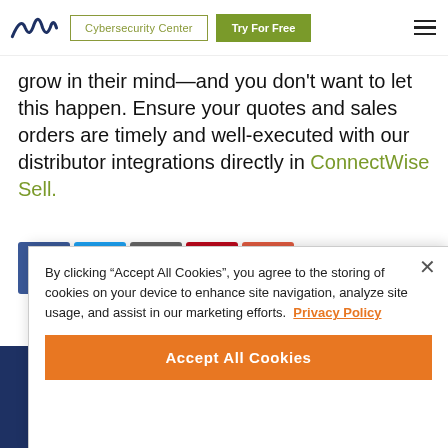Cybersecurity Center | Try For Free
grow in their mind—and you don't want to let this happen. Ensure your quotes and sales orders are timely and well-executed with our distributor integrations directly in ConnectWise Sell.
[Figure (infographic): Social sharing icons: Facebook (blue), Twitter (light blue), Email/share (gray), Pinterest (red), Plus/more (orange-red)]
Ready to talk?
By clicking "Accept All Cookies", you agree to the storing of cookies on your device to enhance site navigation, analyze site usage, and assist in our marketing efforts. Privacy Policy
Accept All Cookies